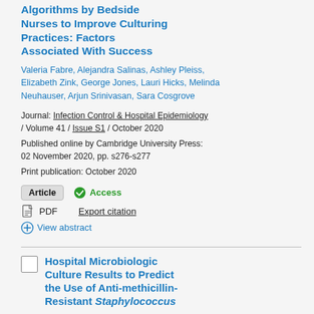Algorithms by Bedside Nurses to Improve Culturing Practices: Factors Associated With Success
Valeria Fabre, Alejandra Salinas, Ashley Pleiss, Elizabeth Zink, George Jones, Lauri Hicks, Melinda Neuhauser, Arjun Srinivasan, Sara Cosgrove
Journal: Infection Control & Hospital Epidemiology / Volume 41 / Issue S1 / October 2020
Published online by Cambridge University Press: 02 November 2020, pp. s276-s277
Print publication: October 2020
Article  Access  PDF  Export citation  View abstract
Hospital Microbiologic Culture Results to Predict the Use of Anti-methicillin-Resistant Staphylococcus